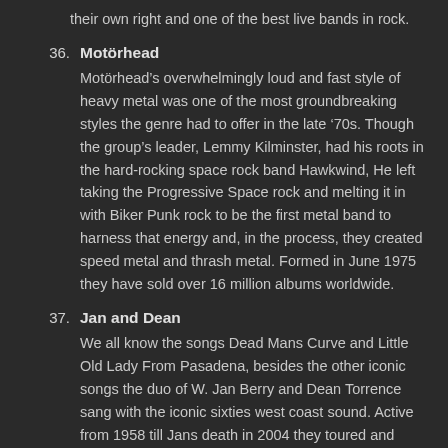their own right and one of the best live bands in rock.
36. Motörhead
Motörhead's overwhelmingly loud and fast style of heavy metal was one of the most groundbreaking styles the genre had to offer in the late '70s. Though the group's leader, Lemmy Kilminster, had his roots in the hard-rocking space rock band Hawkwind, He left taking the Progressive Space rock and melting it in with Biker Punk rock to be the first metal band to harness that energy and, in the process, they created speed metal and thrash metal. Formed in June 1975 they have sold over 16 million albums worldwide.
37. Jan and Dean
We all know the songs Dead Mans Curve and Little Old Lady From Pasadena, besides the other iconic songs the duo of W. Jan Berry and Dean Torrence sang with the iconic sixties west coast sound. Active from 1958 till Jans death in 2004 they toured and recorded, and went on to produce rock music through the decades. Known for an anti-establishment attitude toward the music industry they still recorded their music with a high level of